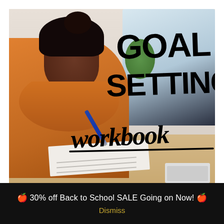[Figure (photo): Photo of a young Black woman in an orange polka-dot top sitting at a desk writing, with a monitor in the background and plants. Overlaid with large handwritten-style text reading 'GOAL SETTING workbook'.]
🍎 30% off Back to School SALE Going on Now! 🍎
Dismiss